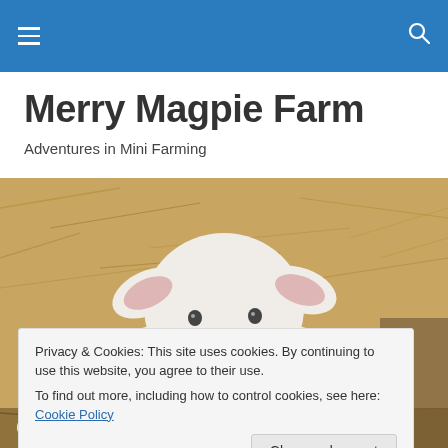Merry Magpie Farm — navigation bar with hamburger menu and search icon
Merry Magpie Farm
Adventures in Mini Farming
[Figure (photo): Close-up photo of a white lamb with pink ears lying in hay/straw]
Privacy & Cookies: This site uses cookies. By continuing to use this website, you agree to their use.
To find out more, including how to control cookies, see here: Cookie Policy
Close and accept
Of Dogs & Sisters